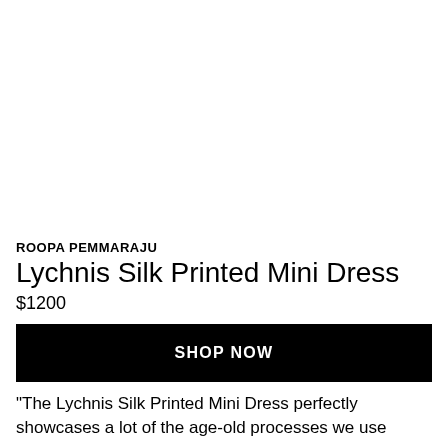[Figure (photo): Product photo area — white/blank space where dress image would appear]
ROOPA PEMMARAJU
Lychnis Silk Printed Mini Dress
$1200
SHOP NOW
"The Lychnis Silk Printed Mini Dress perfectly showcases a lot of the age-old processes we use